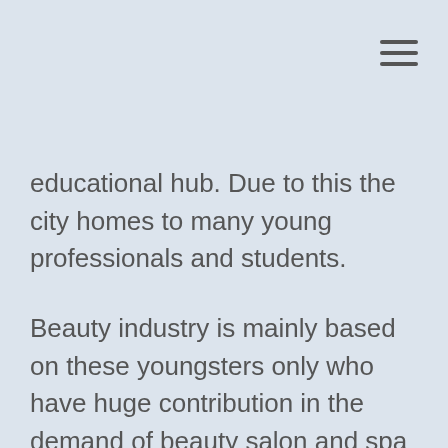educational hub. Due to this the city homes to many young professionals and students.
Beauty industry is mainly based on these youngsters only who have huge contribution in the demand of beauty salon and spa centers. They always want to look and feel great. Want to walk in the rhythm of new trends and fashion. So, they will be your potential